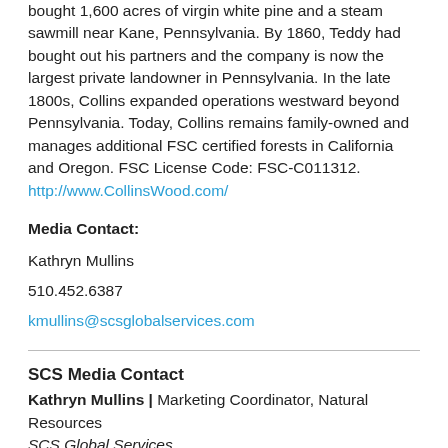bought 1,600 acres of virgin white pine and a steam sawmill near Kane, Pennsylvania. By 1860, Teddy had bought out his partners and the company is now the largest private landowner in Pennsylvania. In the late 1800s, Collins expanded operations westward beyond Pennsylvania. Today, Collins remains family-owned and manages additional FSC certified forests in California and Oregon. FSC License Code: FSC-C011312. http://www.CollinsWood.com/
Media Contact:
Kathryn Mullins
510.452.6387
kmullins@scsglobalservices.com
SCS Media Contact
Kathryn Mullins | Marketing Coordinator, Natural Resources
SCS Global Services